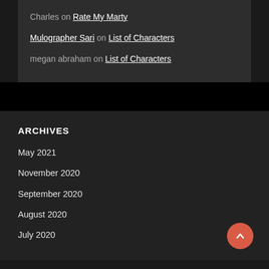Charles on Rate My Marty
Mulographer Sari on List of Characters
megan abraham on List of Characters
ARCHIVES
May 2021
November 2020
September 2020
August 2020
July 2020